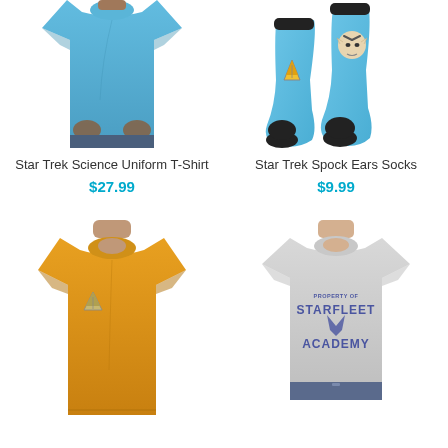[Figure (photo): Man wearing a blue Star Trek Science Uniform T-Shirt, cropped to show torso]
Star Trek Science Uniform T-Shirt
$27.99
[Figure (photo): Blue Star Trek Spock Ears Socks with Spock face graphic and Starfleet delta symbol, black toe and heel]
Star Trek Spock Ears Socks
$9.99
[Figure (photo): Man wearing a gold/yellow Star Trek uniform T-shirt with Starfleet delta badge on chest]
[Figure (photo): Woman wearing a grey Starfleet Academy T-shirt with blue lettering, cropped at hips]